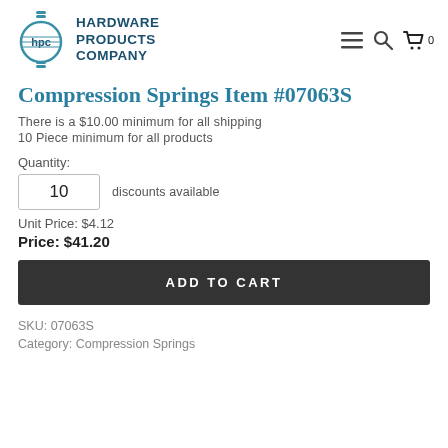Hardware Products Company — navigation header
Compression Springs Item #07063S
There is a $10.00 minimum for all shipping
10 Piece minimum for all products
Quantity: 10   discounts available
Unit Price: $4.12
Price: $41.20
ADD TO CART
SKU: 07063S
Category: Compression Springs